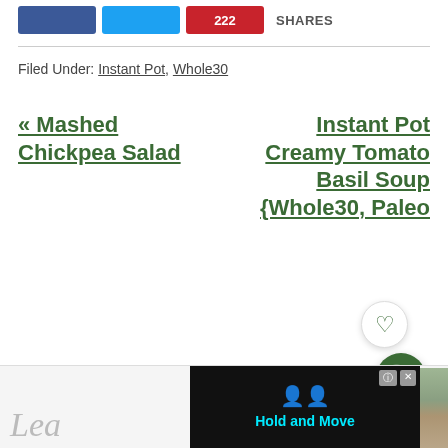[Figure (other): Social share buttons: Facebook (blue), Twitter (blue), Pinterest (red with count 222), and SHARES label]
Filed Under: Instant Pot, Whole30
« Mashed Chickpea Salad
Instant Pot Creamy Tomato Basil Soup {Whole30, Paleo
[Figure (photo): Bottom advertisement overlay with road photo, Hold and Move text, and close buttons]
Lea